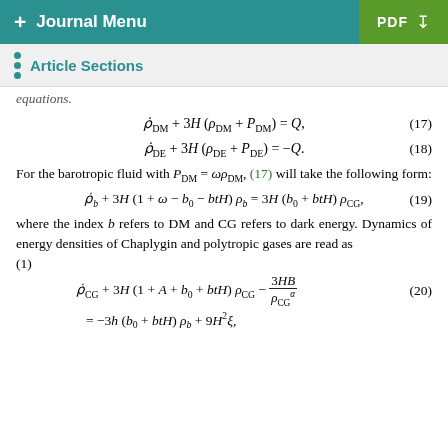+ Journal Menu | PDF
Article Sections
equations.
For the barotropic fluid with P_DM = ωρ_DM, (17) will take the following form:
where the index b refers to DM and CG refers to dark energy. Dynamics of energy densities of Chaplygin and polytropic gases are read as
(1)